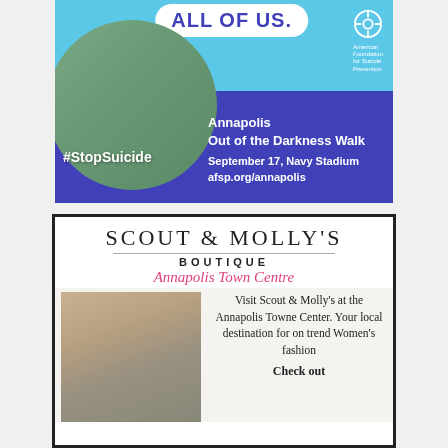[Figure (infographic): AFSP Annapolis Out of the Darkness Walk advertisement. Blue sky background with 'ALL OF US' cloud text, photo of three women, #StopSuicide hashtag, purple section with event details: Annapolis Out of the Darkness Walk, September 17, Navy Stadium, afsp.org/annapolis. American Foundation for Suicide Prevention logo.]
[Figure (infographic): Scout & Molly's Boutique advertisement. Annapolis Town Centre. Features store name in large letters, boutique subtitle, cursive Annapolis Town Centre text, photo of two women in boutique, text: Visit Scout & Molly's at the Annapolis Towne Center. Your local destination for on trend Women's fashion. Check out]